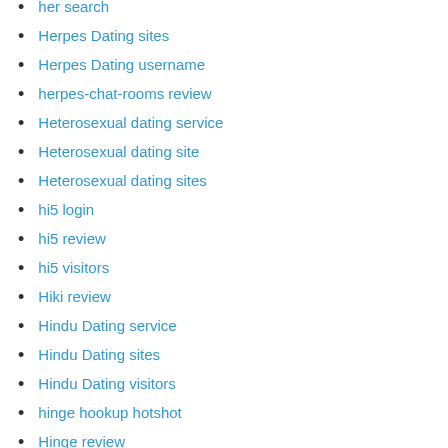her search
Herpes Dating sites
Herpes Dating username
herpes-chat-rooms review
Heterosexual dating service
Heterosexual dating site
Heterosexual dating sites
hi5 login
hi5 review
hi5 visitors
Hiki review
Hindu Dating service
Hindu Dating sites
Hindu Dating visitors
hinge hookup hotshot
Hinge review
hinge search